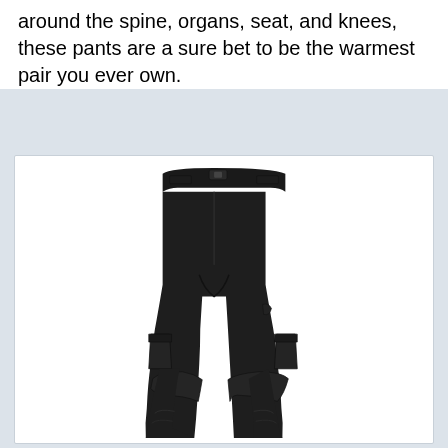around the spine, organs, seat, and knees, these pants are a sure bet to be the warmest pair you ever own.
[Figure (photo): A pair of black snowboard/ski insulated pants displayed against a white background, showing cargo pockets on the thighs and articulated knees.]